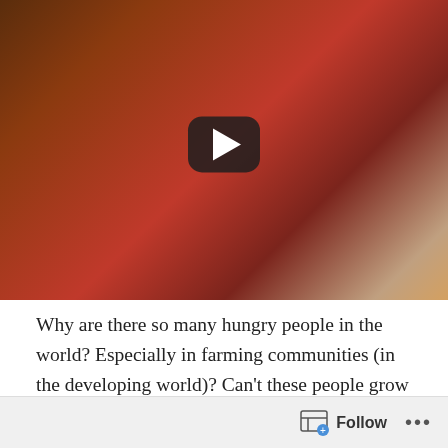[Figure (screenshot): Video thumbnail showing a person in a red sweater sitting down, with a dark play button overlay in the center]
Why are there so many hungry people in the world? Especially in farming communities (in the developing world)? Can't these people grow their own food, you may ask?
3rd world farmers must sell everything they grow in order to pay for the expensive farming methods that have been forced upon them by American companies like Monsanto. This is part of a deliberate strategy to supplant local
Follow ...